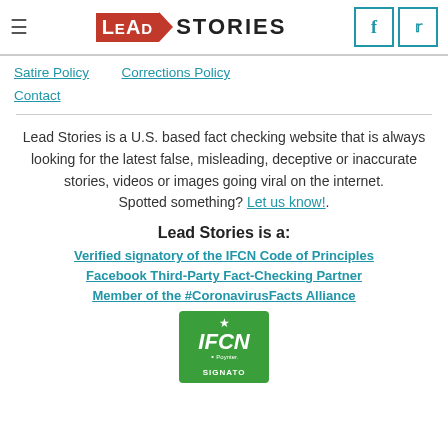Lead Stories — navigation header with logo, hamburger menu, Facebook and Twitter icons
Satire Policy
Corrections Policy
Contact
Lead Stories is a U.S. based fact checking website that is always looking for the latest false, misleading, deceptive or inaccurate stories, videos or images going viral on the internet. Spotted something? Let us know!.
Lead Stories is a:
Verified signatory of the IFCN Code of Principles
Facebook Third-Party Fact-Checking Partner
Member of the #CoronavirusFacts Alliance
[Figure (logo): IFCN signatory green badge with star and IFCN text]